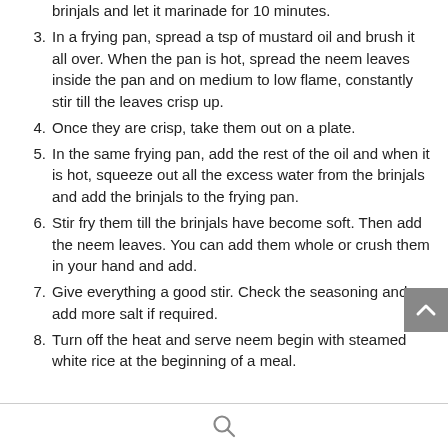2. Add salt, turmeric powder and sugar to the brinjals and let it marinade for 10 minutes.
3. In a frying pan, spread a tsp of mustard oil and brush it all over. When the pan is hot, spread the neem leaves inside the pan and on medium to low flame, constantly stir till the leaves crisp up.
4. Once they are crisp, take them out on a plate.
5. In the same frying pan, add the rest of the oil and when it is hot, squeeze out all the excess water from the brinjals and add the brinjals to the frying pan.
6. Stir fry them till the brinjals have become soft. Then add the neem leaves. You can add them whole or crush them in your hand and add.
7. Give everything a good stir. Check the seasoning and add more salt if required.
8. Turn off the heat and serve neem begin with steamed white rice at the beginning of a meal.